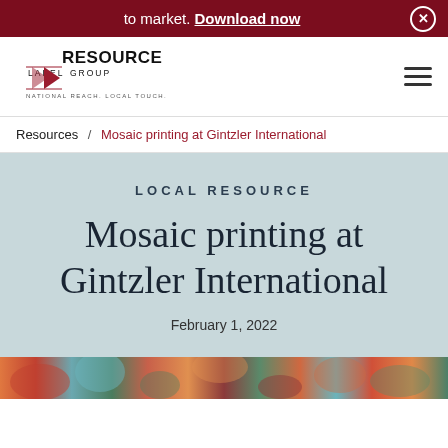to market. Download now
[Figure (logo): Resource Label Group logo with tagline NATIONAL REACH. LOCAL TOUCH.]
Resources / Mosaic printing at Gintzler International
Local Resource
Mosaic printing at Gintzler International
February 1, 2022
[Figure (photo): Colorful mosaic pattern image strip at the bottom of the page]